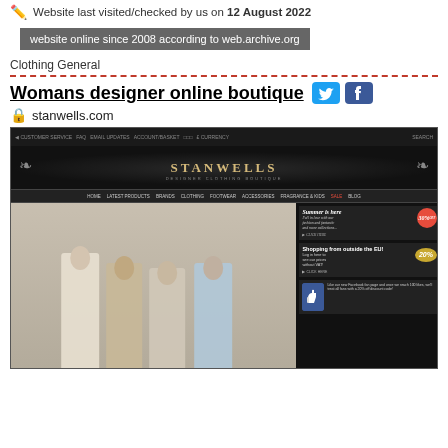Website last visited/checked by us on 12 August 2022
website online since 2008 according to web.archive.org
Clothing General
Womans designer online boutique
stanwells.com
[Figure (screenshot): Screenshot of stanwells.com website showing the Stanwells designer clothing boutique homepage with fashion models, navigation menu, and promotional sidebars including summer sale and EU shopping discount offers.]